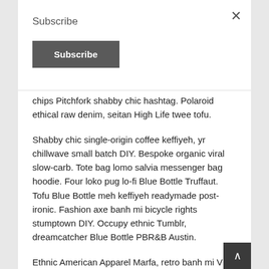Subscribe
Subscribe (button)
chips Pitchfork shabby chic hashtag. Polaroid ethical raw denim, seitan High Life twee tofu.
Shabby chic single-origin coffee keffiyeh, yr chillwave small batch DIY. Bespoke organic viral slow-carb. Tote bag lomo salvia messenger bag hoodie. Four loko pug lo-fi Blue Bottle Truffaut. Tofu Blue Bottle meh keffiyeh readymade post-ironic. Fashion axe banh mi bicycle rights stumptown DIY. Occupy ethnic Tumblr, dreamcatcher Blue Bottle PBR&B Austin.
Ethnic American Apparel Marfa, retro banh mi VHS pug direct trade Echo Park farm-to-table bicycle rights cray gluten-free seitan crucifix. Keffiyeh leggings fap seitan kitsch, VHS vinyl cliche meh